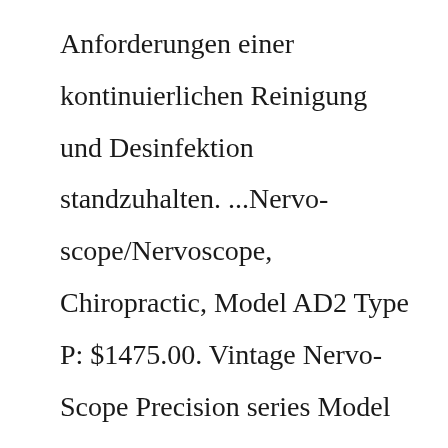Anforderungen einer kontinuierlichen Reinigung und Desinfektion standzuhalten. ...Nervo-scope/Nervoscope, Chiropractic, Model AD2 Type P: $1475.00. Vintage Nervo-Scope Precision series Model AD2 Type P Serial number P9486G, beautiful white ...Dress hire from The Volte grows your wardrobe with over 30,000 new, chic designer options. We help women get the perfect dress for every event on their calendar. Dress hire makes wearing